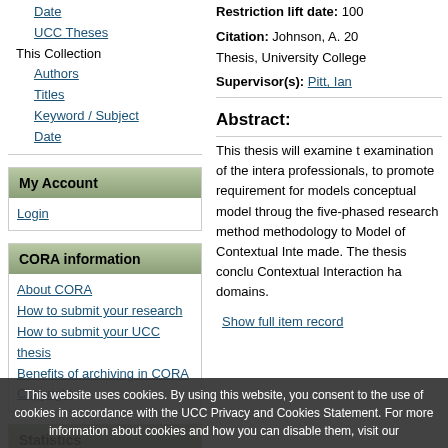Date
UCC Theses
This Collection
Authors
Titles
Keyword / Subject
Date
My Account
Login
CORA information
About CORA
How to submit your research
How to submit your UCC thesis
Benefits of archiving in CORA
Copyright
Statistics
Most Popular Items
Statistics by Country
Most Popular Authors
Restriction lift date: 100
Citation: Johnson, A. 20 Thesis, University College
Supervisor(s): Pitt, Ian
Abstract:
This thesis will examine t examination of the intera professionals, to promote requirement for models conceptual model throug the five-phased research method methodology to Model of Contextual Inte made. The thesis conclu Contextual Interaction ha domains.
Show full item record
This website uses cookies. By using this website, you consent to the use of cookies in accordance with the UCC Privacy and Cookies Statement. For more information about cookies and how you can disable them, visit our